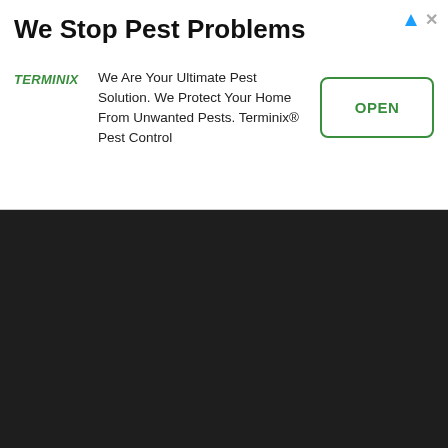[Figure (other): Terminix advertisement banner with title 'We Stop Pest Problems', Terminix logo, description text, and OPEN button]
ishment in Orlando
Establishment in Gainesville
Organizations
7-Eleven in Oldsmar
Walgreens Photo in Saint Cloud
FINO Barber Shop in Orlando
Home
Contact Us